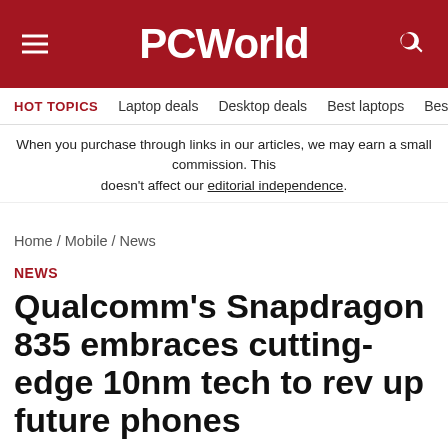PCWorld
HOT TOPICS  Laptop deals  Desktop deals  Best laptops  Best ch
When you purchase through links in our articles, we may earn a small commission. This doesn't affect our editorial independence.
Home / Mobile / News
NEWS
Qualcomm's Snapdragon 835 embraces cutting-edge 10nm tech to rev up future phones
The next-generation Snapdragon 835 will be